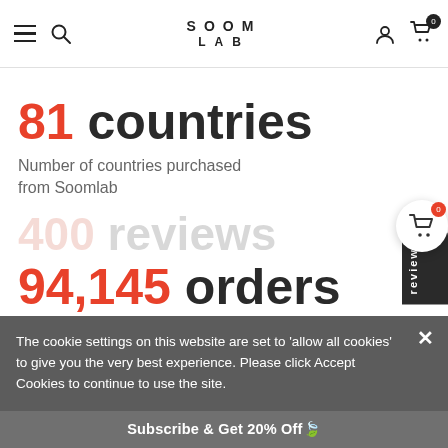SOOM LAB
81 countries
Number of countries purchased from Soomlab
94,145 orders
Number of orders placed on the Soomlab
8,357 reviews
Number of positive reviews left by customers
The cookie settings on this website are set to 'allow all cookies' to give you the very best experience. Please click Accept Cookies to continue to use the site.
Subscribe & Get 20% Off🍃